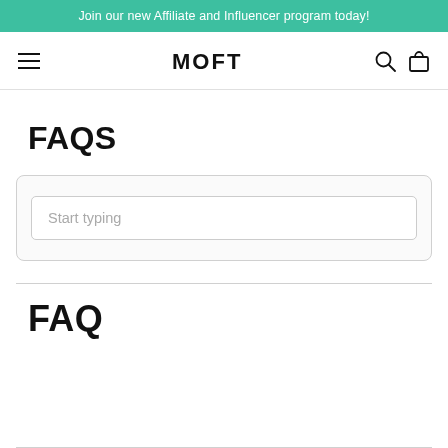Join our new Affiliate and Influencer program today!
[Figure (screenshot): MOFT website navigation bar with hamburger menu, MOFT logo, search icon, and shopping bag icon]
FAQS
[Figure (screenshot): Search box with placeholder text 'Start typing' inside a rounded border container]
FAQ